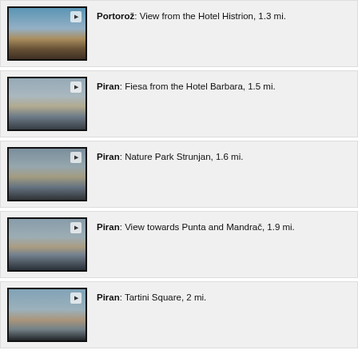Portorož: View from the Hotel Histrion, 1.3 mi.
Piran: Fiesa from the Hotel Barbara, 1.5 mi.
Piran: Nature Park Strunjan, 1.6 mi.
Piran: View towards Punta and Mandrač, 1.9 mi.
Piran: Tartini Square, 2 mi.